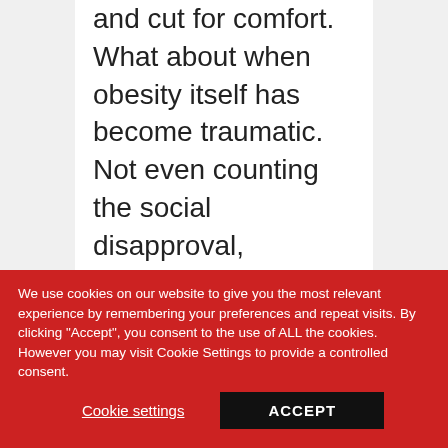and cut for comfort. What about when obesity itself has become traumatic. Not even counting the social disapproval,
We use cookies on our website to give you the most relevant experience by remembering your preferences and repeat visits. By clicking "Accept", you consent to the use of ALL the cookies. However you may visit Cookie Settings to provide a controlled consent.